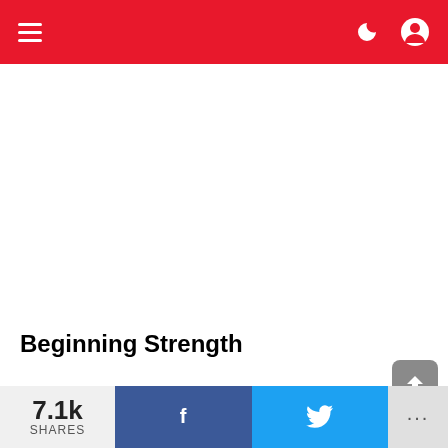Navigation bar with hamburger menu, dark mode toggle, and user profile icon
[Figure (other): White advertisement/content placeholder area]
Beginning Strength
Composed by Mark Rippetoe, this workout routine is ideal for amateurs. It utilizes the body's most essential development examples to build bulk and
7.1k SHARES | Facebook share button | Twitter share button | More options (...)